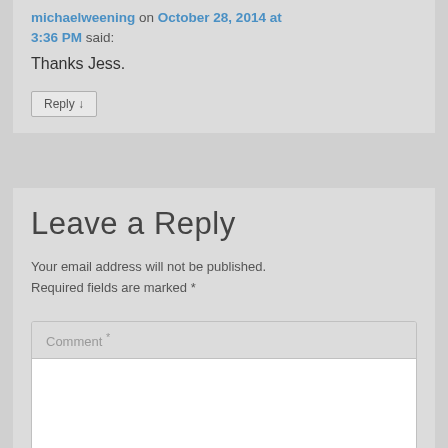michaelweening on October 28, 2014 at 3:36 PM said:
Thanks Jess.
Reply ↓
Leave a Reply
Your email address will not be published. Required fields are marked *
Comment *